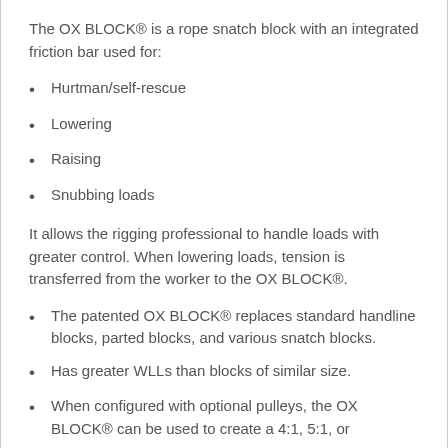The OX BLOCK® is a rope snatch block with an integrated friction bar used for:
Hurtman/self-rescue
Lowering
Raising
Snubbing loads
It allows the rigging professional to handle loads with greater control. When lowering loads, tension is transferred from the worker to the OX BLOCK®.
The patented OX BLOCK® replaces standard handline blocks, parted blocks, and various snatch blocks.
Has greater WLLs than blocks of similar size.
When configured with optional pulleys, the OX BLOCK® can be used to create a 4:1, 5:1, or 6:1 mechanical advantage raising the